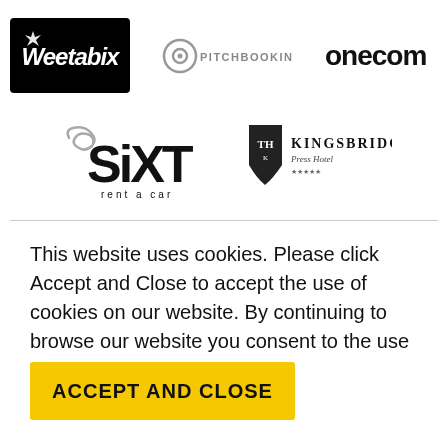[Figure (logo): Weetabix logo — white italic bold text on black background]
[Figure (logo): Pitchbooking logo — circular icon with 'PITCHBOOKING' text]
[Figure (logo): onecom logo — bold lowercase black text]
[Figure (logo): Sixt rent a car logo — bold black text with tagline 'rent a car']
[Figure (logo): Kingsbridge Press Hotel logo — shield icon with text]
This website uses cookies. Please click Accept and Close to accept the use of cookies on our website. By continuing to browse our website you consent to the use of cookies on this website.
ACCEPT AND CLOSE